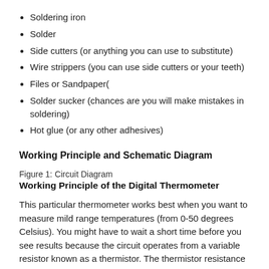Soldering iron
Solder
Side cutters (or anything you can use to substitute)
Wire strippers (you can use side cutters or your teeth)
Files or Sandpaper(
Solder sucker (chances are you will make mistakes in soldering)
Hot glue (or any other adhesives)
Working Principle and Schematic Diagram
Figure 1: Circuit Diagram
Working Principle of the Digital Thermometer
This particular thermometer works best when you want to measure mild range temperatures (from 0-50 degrees Celsius). You might have to wait a short time before you see results because the circuit operates from a variable resistor known as a thermistor. The thermistor resistance